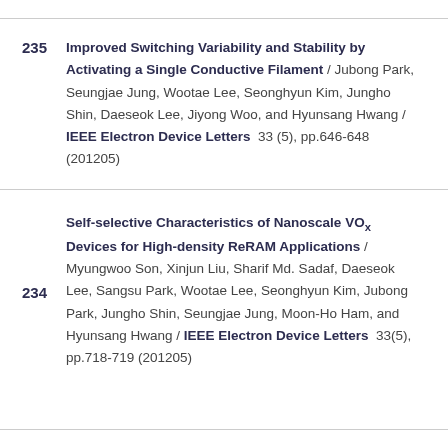235 Improved Switching Variability and Stability by Activating a Single Conductive Filament / Jubong Park, Seungjae Jung, Wootae Lee, Seonghyun Kim, Jungho Shin, Daeseok Lee, Jiyong Woo, and Hyunsang Hwang / IEEE Electron Device Letters 33 (5), pp.646-648 (201205)
234 Self-selective Characteristics of Nanoscale VOx Devices for High-density ReRAM Applications / Myungwoo Son, Xinjun Liu, Sharif Md. Sadaf, Daeseok Lee, Sangsu Park, Wootae Lee, Seonghyun Kim, Jubong Park, Jungho Shin, Seungjae Jung, Moon-Ho Ham, and Hyunsang Hwang / IEEE Electron Device Letters 33(5), pp.718-719 (201205)